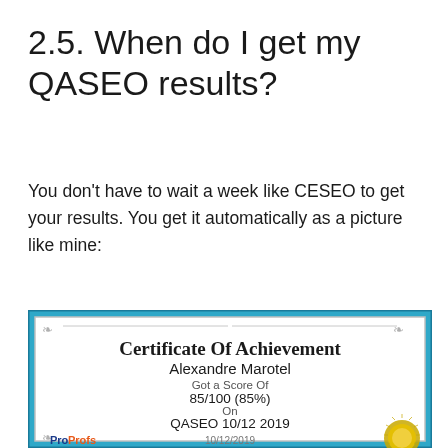2.5. When do I get my QASEO results?
You don't have to wait a week like CESEO to get your results. You get it automatically as a picture like mine:
[Figure (illustration): Certificate Of Achievement awarded to Alexandre Marotel. Got a Score Of 85/100 (85%) On QASEO 10/12 2019. Issued by ProProfs, dated 10/12/2019, with a gold seal in the bottom right corner.]